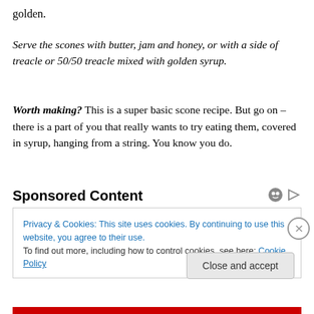golden.
Serve the scones with butter, jam and honey, or with a side of treacle or 50/50 treacle mixed with golden syrup.
Worth making? This is a super basic scone recipe. But go on – there is a part of you that really wants to try eating them, covered in syrup, hanging from a string. You know you do.
Sponsored Content
Privacy & Cookies: This site uses cookies. By continuing to use this website, you agree to their use.
To find out more, including how to control cookies, see here: Cookie Policy
Close and accept